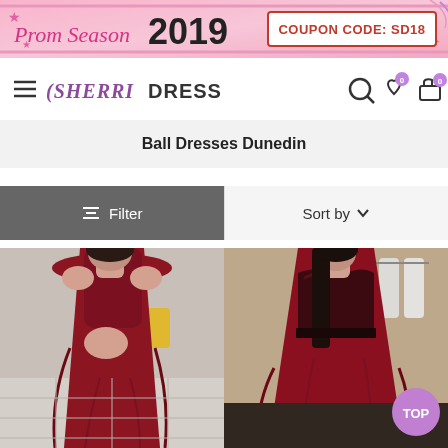[Figure (infographic): Prom Season 2019 promotional banner with pink background, decorative stars and ribbons. Coupon code SD18 shown on right side in red bordered white box.]
[Figure (logo): SherriDress website navigation bar with hamburger menu, SHERRIDRESS logo, search icon, wishlist icon with 0 badge, and cart icon with 0 badge.]
Ball Dresses Dunedin
[Figure (screenshot): Filter button (dark grey) and Sort by dropdown (light grey) controls for product listing.]
[Figure (photo): Photo of a model wearing an off-shoulder dark burgundy/maroon ball gown in a shop setting.]
[Figure (photo): Photo of a model wearing a sweetheart neckline dark burgundy/maroon ball gown in a bridal shop. TOP badge visible in bottom right corner.]